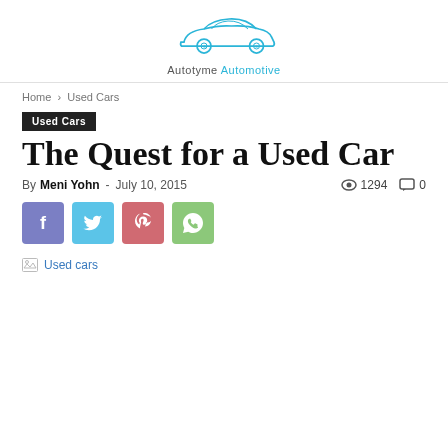[Figure (logo): Autotyme Automotive logo with a blue car silhouette and text 'Autotyme Automotive']
Home › Used Cars
Used Cars
The Quest for a Used Car
By Meni Yohn - July 10, 2015  👁 1294  💬 0
[Figure (infographic): Social share buttons: Facebook (purple), Twitter (blue), Pinterest (red), WhatsApp (green)]
[Figure (photo): Broken image placeholder labeled 'Used cars']